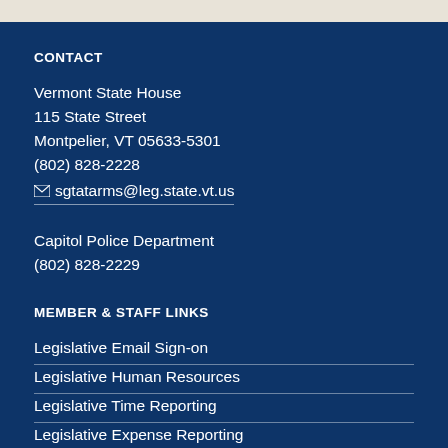CONTACT
Vermont State House
115 State Street
Montpelier, VT 05633-5301
(802) 828-2228
sgtatarms@leg.state.vt.us
Capitol Police Department
(802) 828-2229
MEMBER & STAFF LINKS
Legislative Email Sign-on
Legislative Human Resources
Legislative Time Reporting
Legislative Expense Reporting
iPad Tips & Tricks